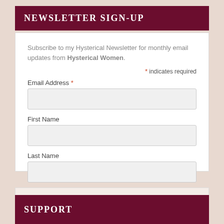NEWSLETTER SIGN-UP
Subscribe to my Hysterical Newsletter for monthly email updates from Hysterical Women.
* indicates required
Email Address *
First Name
Last Name
SUPPORT